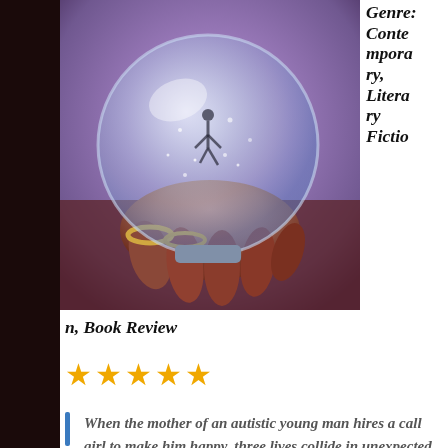[Figure (photo): A person's hand holding a snow globe with a figure inside, purple/blue tinted background]
Genre: Contemporary, Literary Fiction, Book Review
★★★★★
When the mother of an autistic young man hires a call girl to make him happy, three lives collide in unexpected and moving ways … changing everything. A devastatingly beautiful, rich and thought-provoking novel that will warm your heart.